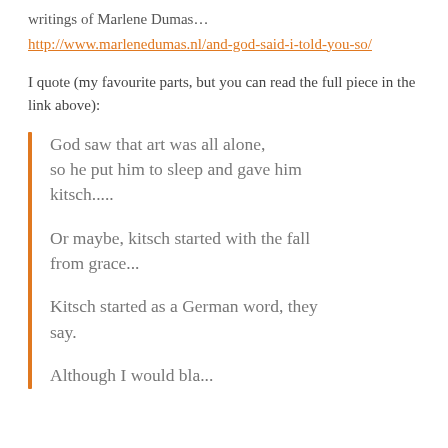writings of Marlene Dumas…
http://www.marlenedumas.nl/and-god-said-i-told-you-so/
I quote (my favourite parts, but you can read the full piece in the link above):
God saw that art was all alone, so he put him to sleep and gave him kitsch.....
Or maybe, kitsch started with the fall from grace...
Kitsch started as a German word, they say.
Although I would bla...